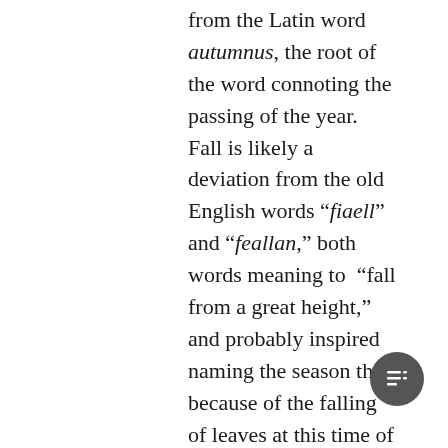from the Latin word autumnus, the root of the word connoting the passing of the year.  Fall is likely a deviation from the old English words "fiaell" and "feallan," both words meaning to "fall from a great height,"  and probably inspired naming the season that because of the falling of leaves at this time of year.  During the 17th century both words were used interchangeably, but the "more poetic" fall is the term that crossed the water to become the more popular name in American English.  Either way, to many the third season of the year is often considered the most popular one, vying with spring for the "favorite's" honor.  I have thoroughly been enjoying my drive and down country roads to reach my